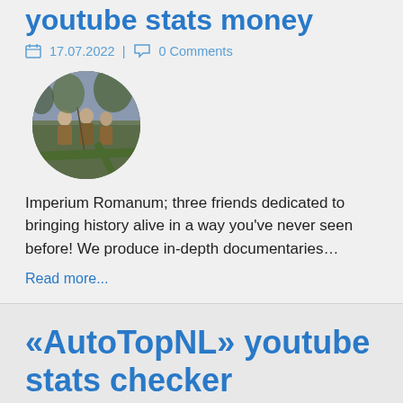youtube stats money
17.07.2022 | 0 Comments
[Figure (photo): Circular thumbnail photo of three people in Roman soldier costumes walking on a path through trees]
Imperium Romanum; three friends dedicated to bringing history alive in a way you've never seen before! We produce in-depth documentaries…
Read more...
«AutoTopNL» youtube stats checker